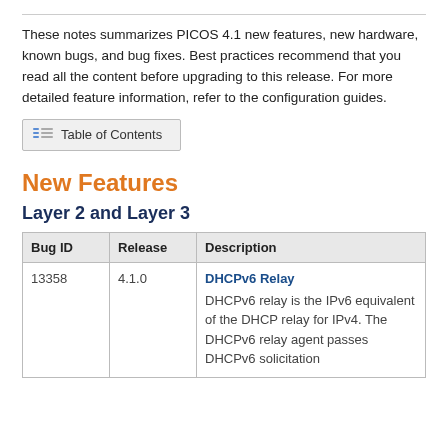These notes summarizes PICOS 4.1 new features, new hardware, known bugs, and bug fixes. Best practices recommend that you read all the content before upgrading to this release. For more detailed feature information, refer to the configuration guides.
Table of Contents
New Features
Layer 2 and Layer 3
| Bug ID | Release | Description |
| --- | --- | --- |
| 13358 | 4.1.0 | DHCPv6 Relay
DHCPv6 relay is the IPv6 equivalent of the DHCP relay for IPv4. The DHCPv6 relay agent passes DHCPv6 solicitation |